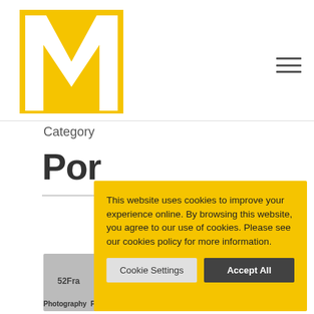[Figure (logo): Yellow stylized 'M' or 'W' logo mark on white background]
Category
Por
This website uses cookies to improve your experience online. By browsing this website, you agree to our use of cookies. Please see our cookies policy for more information.
Cookie Settings   Accept All
[Figure (screenshot): Partially visible card with label '52Fra' and tags 'Photography Portrait Studio Lighting']